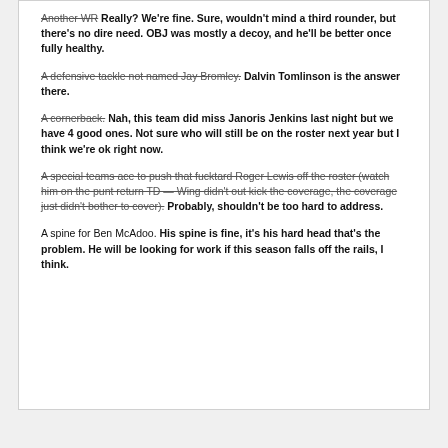Another WR Really? We're fine. Sure, wouldn't mind a third rounder, but there's no dire need. OBJ was mostly a decoy, and he'll be better once fully healthy.
A defensive tackle not named Jay Bromley. Dalvin Tomlinson is the answer there.
A cornerback. Nah, this team did miss Janoris Jenkins last night but we have 4 good ones. Not sure who will still be on the roster next year but I think we're ok right now.
A special teams ace to push that fucktard Roger Lewis off the roster (watch him on the punt return TD — Wing didn't out kick the coverage, the coverage just didn't bother to cover). Probably, shouldn't be too hard to address.
A spine for Ben McAdoo. His spine is fine, it's his hard head that's the problem. He will be looking for work if this season falls off the rails, I think.